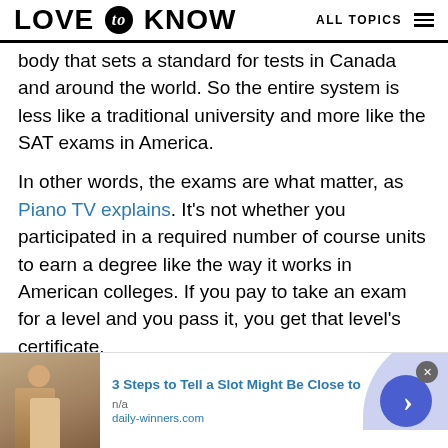LOVE to KNOW   ALL TOPICS
body that sets a standard for tests in Canada and around the world. So the entire system is less like a traditional university and more like the SAT exams in America.
In other words, the exams are what matter, as Piano TV explains. It's not whether you participated in a required number of course units to earn a degree like the way it works in American colleges. If you pay to take an exam for a level and you pass it, you get that level's certificate. However, when you get to the higher levels, there
[Figure (screenshot): Advertisement banner: '3 Steps to Tell a Slot Might Be Close to' from daily-winners.com, with a thumbnail image of a person and a blue arrow button]